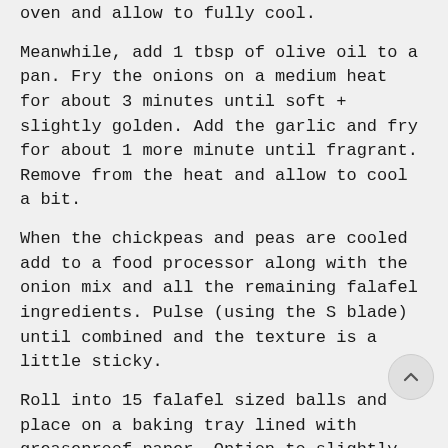oven and allow to fully cool.
Meanwhile, add 1 tbsp of olive oil to a pan. Fry the onions on a medium heat for about 3 minutes until soft + slightly golden. Add the garlic and fry for about 1 more minute until fragrant. Remove from the heat and allow to cool a bit.
When the chickpeas and peas are cooled add to a food processor along with the onion mix and all the remaining falafel ingredients. Pulse (using the S blade) until combined and the texture is a little sticky.
Roll into 15 falafel sized balls and place on a baking tray lined with greaseproof paper. Option to slightly wet your hands with a tiny bit of water to make them easier to roll if your mix is a touch sticky.
Drizzle + roll the falafel in 2 - 3 tbsp of olive oil. You want a generous coating so they're not dry and go nice and crisp.
Increase the temperature of the oven to 220C /